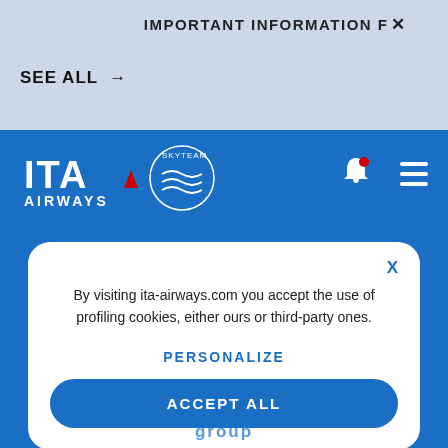IMPORTANT INFORMATION F  X
SEE ALL →
[Figure (logo): ITA Airways logo with SkyTeam partnership badge]
X
By visiting ita-airways.com you accept the use of profiling cookies, either ours or third-party ones.
PERSONALIZE
ACCEPT ALL
group